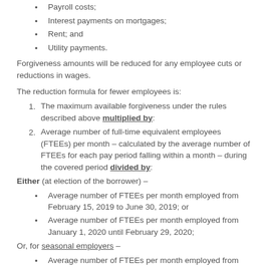Payroll costs;
Interest payments on mortgages;
Rent; and
Utility payments.
Forgiveness amounts will be reduced for any employee cuts or reductions in wages.
The reduction formula for fewer employees is:
The maximum available forgiveness under the rules described above multiplied by:
Average number of full-time equivalent employees (FTEEs) per month – calculated by the average number of FTEEs for each pay period falling within a month – during the covered period divided by:
Either (at election of the borrower) –
Average number of FTEEs per month employed from February 15, 2019 to June 30, 2019; or
Average number of FTEEs per month employed from January 1, 2020 until February 29, 2020;
Or, for seasonal employers –
Average number of FTEEs per month employed from